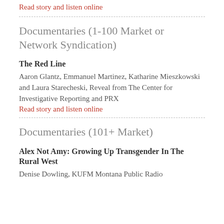Read story and listen online
Documentaries (1-100 Market or Network Syndication)
The Red Line
Aaron Glantz, Emmanuel Martinez, Katharine Mieszkowski and Laura Starecheski, Reveal from The Center for Investigative Reporting and PRX
Read story and listen online
Documentaries (101+ Market)
Alex Not Amy: Growing Up Transgender In The Rural West
Denise Dowling, KUFM Montana Public Radio